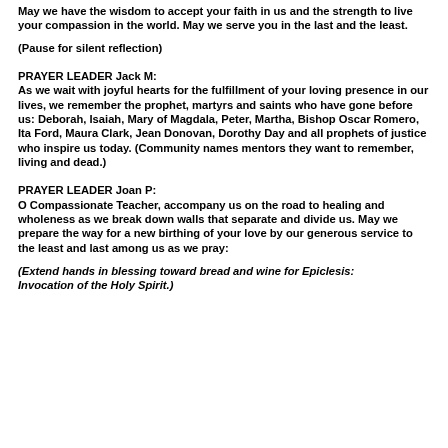May we have the wisdom to accept your faith in us and the strength to live your compassion in the world. May we serve you in the last and the least.
(Pause for silent reflection)
PRAYER LEADER Jack M:
As we wait with joyful hearts for the fulfillment of your loving presence in our lives, we remember the prophet, martyrs and saints who have gone before us: Deborah, Isaiah, Mary of Magdala, Peter, Martha, Bishop Oscar Romero, Ita Ford, Maura Clark, Jean Donovan, Dorothy Day and all prophets of justice who inspire us today. (Community names mentors they want to remember, living and dead.)
PRAYER LEADER Joan P:
O Compassionate Teacher, accompany us on the road to healing and wholeness as we break down walls that separate and divide us. May we prepare the way for a new birthing of your love by our generous service to the least and last among us as we pray:
(Extend hands in blessing toward bread and wine for Epiclesis: Invocation of the Holy Spirit.)